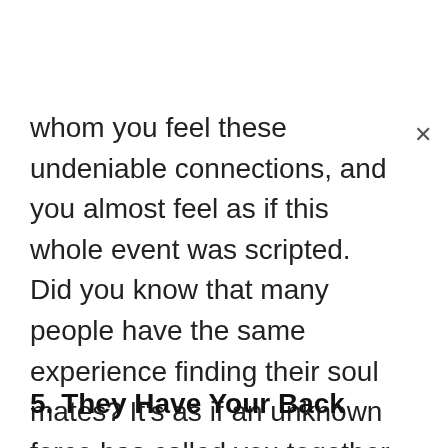whom you feel these undeniable connections, and you almost feel as if this whole event was scripted. Did you know that many people have the same experience finding their soul mates? It's as if an unknown force has called you together at a specific time and place so that you can find one another.
5. They Have Your Back